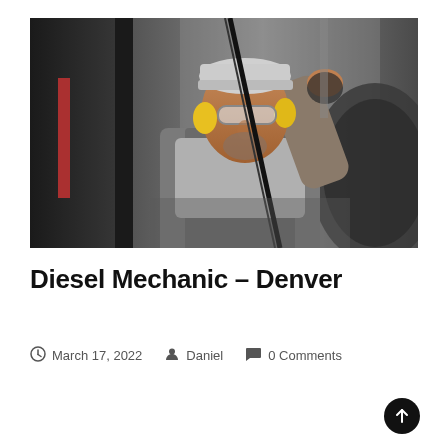[Figure (photo): A diesel mechanic wearing safety glasses, a cap, and work overalls, leaning into a large vehicle engine compartment in a workshop setting.]
Diesel Mechanic – Denver
March 17, 2022   Daniel   0 Comments